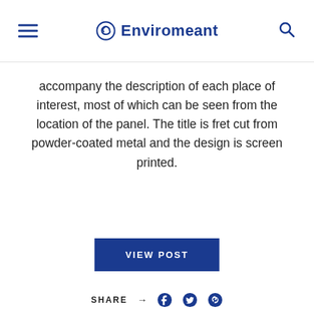Enviromeant
accompany the description of each place of interest, most of which can be seen from the location of the panel. The title is fret cut from powder-coated metal and the design is screen printed.
VIEW POST
SHARE
[Figure (photo): A large industrial or commercial building with colorful graffiti-style mural artwork on its exterior wall, with trees visible and overcast sky.]